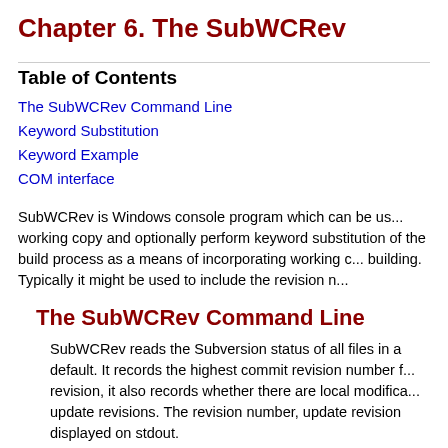Chapter 6. The SubWCRev
Table of Contents
The SubWCRev Command Line
Keyword Substitution
Keyword Example
COM interface
SubWCRev is Windows console program which can be us... working copy and optionally perform keyword substitution ... of the build process as a means of incorporating working c... building. Typically it might be used to include the revision n...
The SubWCRev Command Line
SubWCRev reads the Subversion status of all files in a... default. It records the highest commit revision number f... revision, it also records whether there are local modifica... update revisions. The revision number, update revision... displayed on stdout.